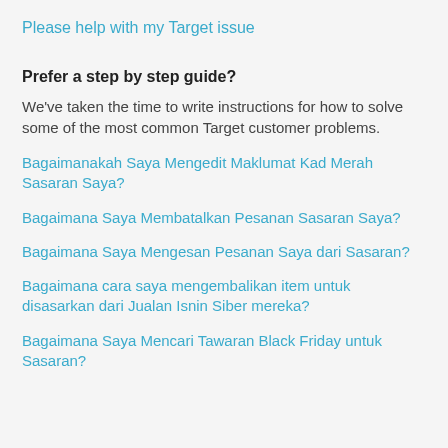Please help with my Target issue
Prefer a step by step guide?
We've taken the time to write instructions for how to solve some of the most common Target customer problems.
Bagaimanakah Saya Mengedit Maklumat Kad Merah Sasaran Saya?
Bagaimana Saya Membatalkan Pesanan Sasaran Saya?
Bagaimana Saya Mengesan Pesanan Saya dari Sasaran?
Bagaimana cara saya mengembalikan item untuk disasarkan dari Jualan Isnin Siber mereka?
Bagaimana Saya Mencari Tawaran Black Friday untuk Sasaran?